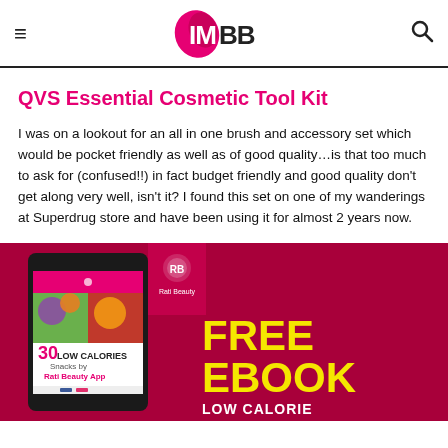IMBB
QVS Essential Cosmetic Tool Kit
I was on a lookout for an all in one brush and accessory set which would be pocket friendly as well as of good quality…is that too much to ask for (confused!!) in fact budget friendly and good quality don't get along very well, isn't it? I found this set on one of my wanderings at Superdrug store and have been using it for almost 2 years now.
[Figure (infographic): Advertisement banner with dark pink/crimson background showing a tablet with '30 Low Calories Snacks by Rati Beauty App', a Rati Beauty badge, and text 'FREE EBOOK LOW CALORIE']